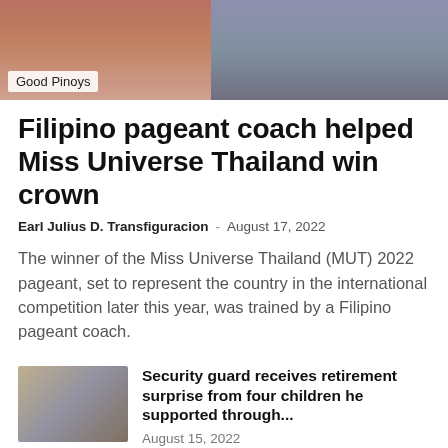[Figure (photo): Two-panel photo banner: left panel shows a woman in red, right panel shows a person in blue jeans standing]
Good Pinoys
Filipino pageant coach helped Miss Universe Thailand win crown
Earl Julius D. Transfiguracion – August 17, 2022
The winner of the Miss Universe Thailand (MUT) 2022 pageant, set to represent the country in the international competition later this year, was trained by a Filipino pageant coach.
[Figure (photo): Photo of a group of people standing outdoors]
Security guard receives retirement surprise from four children he supported through...
August 15, 2022
[Figure (photo): Photo of Philippine National ID tracking document]
How to Track your Philippine National ID delivery
September 30, 2021
[Figure (photo): Partial photo at bottom of page]